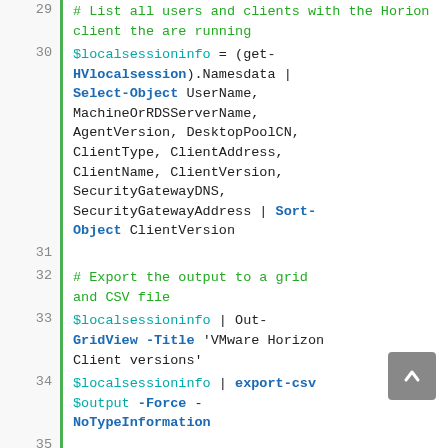[Figure (screenshot): PowerShell code snippet showing lines 29-36 of a script. Lines include comments (in green) and PowerShell commands (in cyan/blue). Line 29 (partial): comment '# List all users and clients with the Horion client the are running'. Line 30: $localsessioninfo = (get-HVlocalsession).Namesdata | Select-Object UserName, MachineOrRDSServerName, AgentVersion, DesktopPoolCN, ClientType, ClientAddress, ClientName, ClientVersion, SecurityGatewayDNS, SecurityGatewayAddress | Sort-Object ClientVersion. Line 31: blank. Line 32: # Export the output to a grid and CSV file. Line 33: $localsessioninfo | Out-GridView -Title 'VMware Horizon Client versions'. Line 34: $localsessioninfo | export-csv $output -Force -NoTypeInformation. Line 35: blank. Line 36: Disconnect-HVServer * -Confirm:$false]